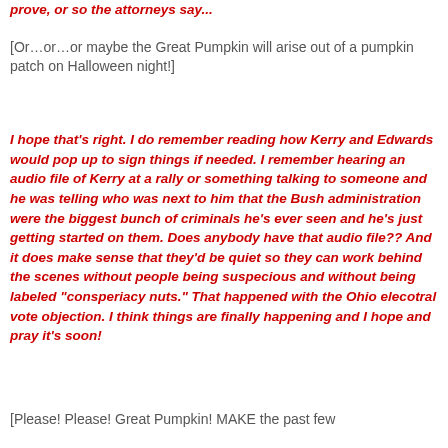prove, or so the attorneys say...
[Or…or…or maybe the Great Pumpkin will arise out of a pumpkin patch on Halloween night!]
I hope that's right. I do remember reading how Kerry and Edwards would pop up to sign things if needed. I remember hearing an audio file of Kerry at a rally or something talking to someone and he was telling who was next to him that the Bush administration were the biggest bunch of criminals he's ever seen and he's just getting started on them. Does anybody have that audio file?? And it does make sense that they'd be quiet so they can work behind the scenes without people being suspecious and without being labeled "consperiacy nuts." That happened with the Ohio elecotral vote objection. I think things are finally happening and I hope and pray it's soon!
[Please! Please! Great Pumpkin! MAKE the past few